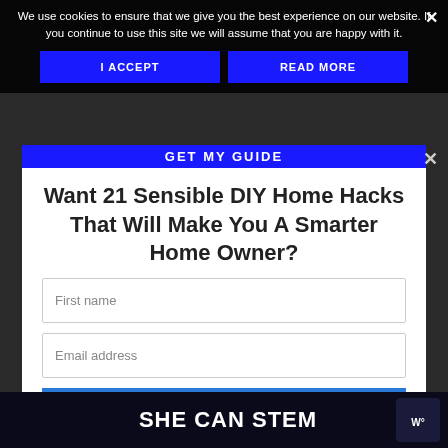We use cookies to ensure that we give you the best experience on our website. If you continue to use this site we will assume that you are happy with it.
I ACCEPT
READ MORE
Want 21 Sensible DIY Home Hacks That Will Make You A Smarter Home Owner?
First name
Email address
YES, I WANT IT!
SHE CAN STEM